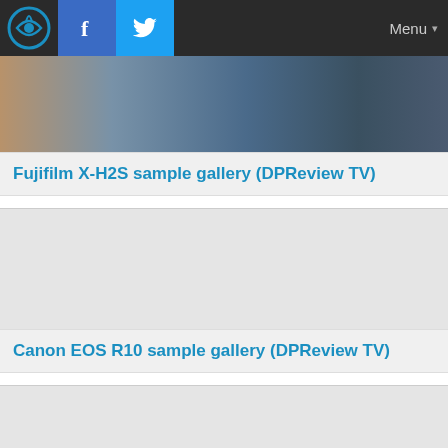Menu
[Figure (screenshot): Partial photo showing people in outdoor setting, cropped at top]
Fujifilm X-H2S sample gallery (DPReview TV)
[Figure (screenshot): Light gray placeholder image area for Canon EOS R10 gallery]
Canon EOS R10 sample gallery (DPReview TV)
[Figure (screenshot): Light gray placeholder image area, partially visible at bottom]